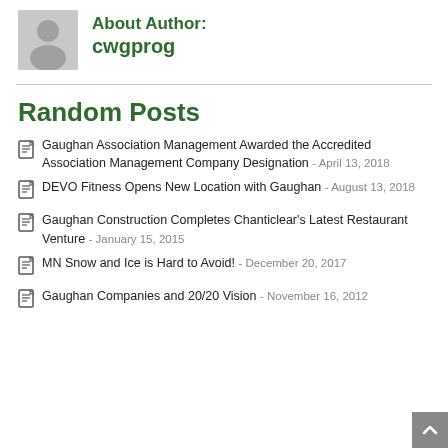About Author: cwgprog
Random Posts
Gaughan Association Management Awarded the Accredited Association Management Company Designation - April 13, 2018
DEVO Fitness Opens New Location with Gaughan - August 13, 2018
Gaughan Construction Completes Chanticlear's Latest Restaurant Venture - January 15, 2015
MN Snow and Ice is Hard to Avoid! - December 20, 2017
Gaughan Companies and 20/20 Vision - November 16, 2012